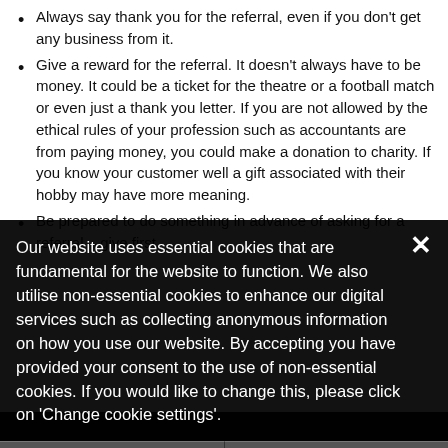Always say thank you for the referral, even if you don't get any business from it.
Give a reward for the referral. It doesn't always have to be money. It could be a ticket for the theatre or a football match or even just a thank you letter. If you are not allowed by the ethical rules of your profession such as accountants are from paying money, you could make a donation to charity. If you know your customer well a gift associated with their hobby may have more meaning.
Be prepared to do something in advance of asking for a referral – give first.
Our website uses essential cookies that are fundamental for the website to function. We also utilise non-essential cookies to enhance our digital services such as collecting anonymous information on how you use our website. By accepting you have provided your consent to the use of non-essential cookies. If you would like to change this, please click on 'Change cookie settings'.
Accept & Close
Change cookie settings